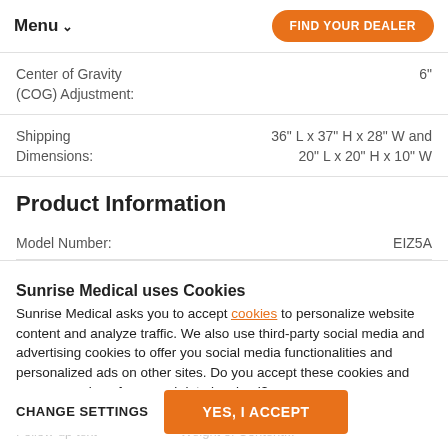Menu  FIND YOUR DEALER
| Specification | Value |
| --- | --- |
| Center of Gravity (COG) Adjustment: | 6" |
| Shipping Dimensions: | 36" L x 37" H x 28" W and 20" L x 20" H x 10" W |
Product Information
| Specification | Value |
| --- | --- |
| Model Number: | EIZ5A |
Sunrise Medical uses Cookies
Sunrise Medical asks you to accept cookies to personalize website content and analyze traffic. We also use third-party social media and advertising cookies to offer you social media functionalities and personalized ads on other sites. Do you accept these cookies and any processing of personal data involved?
CHANGE SETTINGS   YES, I ACCEPT